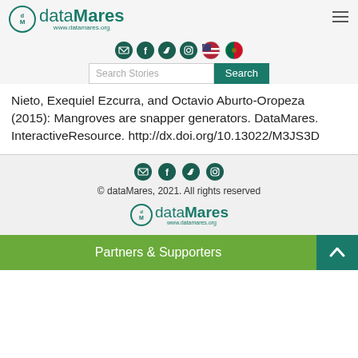[Figure (logo): dataMares logo with circle dM icon and www.datamares.org URL]
[Figure (infographic): Social media icons: email, facebook, twitter, instagram, US flag, Mexico flag]
[Figure (infographic): Search bar with placeholder 'Search Stories' and Search button]
Nieto, Exequiel Ezcurra, and Octavio Aburto-Oropeza (2015): Mangroves are snapper generators. DataMares. InteractiveResource. http://dx.doi.org/10.13022/M3JS3D
Social icons + © dataMares, 2021. All rights reserved + dataMares logo + Partners & Supporters button